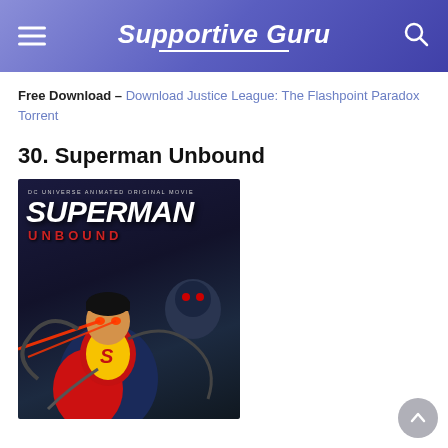Supportive Guru
Free Download – Download Justice League: The Flashpoint Paradox Torrent
30. Superman Unbound
[Figure (photo): Movie poster for Superman Unbound – DC Universe Animated Original Movie. Shows Superman firing laser beams from his eyes while a robotic villain looms in the background. Bold white text reads SUPERMAN and red text reads UNBOUND.]
[Figure (other): Scroll-to-top circular button with upward arrow, grey colored, bottom right corner.]